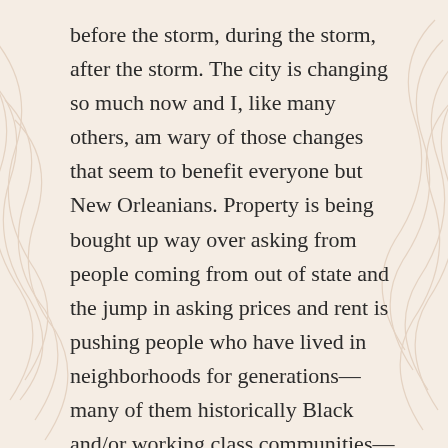before the storm, during the storm, after the storm. The city is changing so much now and I, like many others, am wary of those changes that seem to benefit everyone but New Orleanians. Property is being bought up way over asking from people coming from out of state and the jump in asking prices and rent is pushing people who have lived in neighborhoods for generations—many of them historically Black and/or working class communities—out of the city. Culture is being commodified, sold to the highest bidder, for those who love it here but don't have roots here. The city and people need the money. But is the cost a diluted version of what was once real here? One of the things I appreciate most about and am grateful about New Orleans is its realness, its genuine